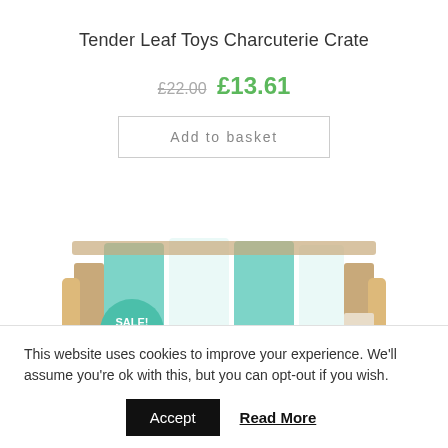Tender Leaf Toys Charcuterie Crate
£22.00 £13.61
Add to basket
[Figure (photo): Product photo of Tender Leaf Toys Charcuterie Crate — a wooden crate with teal and white striped fabric lids, shown with a green SALE! badge overlay]
This website uses cookies to improve your experience. We'll assume you're ok with this, but you can opt-out if you wish.
Accept   Read More